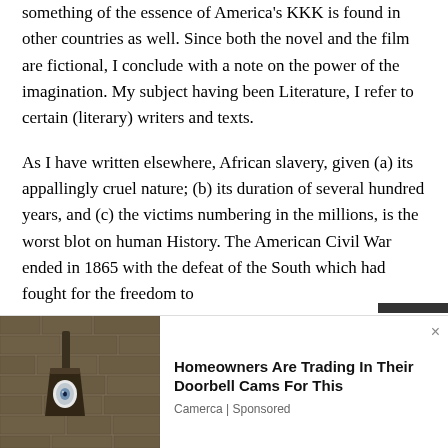something of the essence of America's KKK is found in other countries as well. Since both the novel and the film are fictional, I conclude with a note on the power of the imagination. My subject having been Literature, I refer to certain (literary) writers and texts.
As I have written elsewhere, African slavery, given (a) its appallingly cruel nature; (b) its duration of several hundred years, and (c) the victims numbering in the millions, is the worst blot on human History. The American Civil War ended in 1865 with the defeat of the South which had fought for the freedom to
[Figure (photo): Advertisement overlay showing a doorbell camera on a stone wall, with headline 'Homeowners Are Trading In Their Doorbell Cams For This' from Camerca | Sponsored]